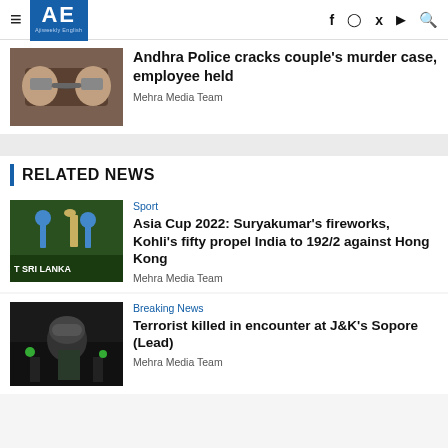AE Ajiweekly English
[Figure (photo): Handcuffed person's wrists from behind]
Andhra Police cracks couple's murder case, employee held
Mehra Media Team
RELATED NEWS
[Figure (photo): Cricket match with players, Sri Lanka stadium signage visible]
Sport
Asia Cup 2022: Suryakumar's fireworks, Kohli's fifty propel India to 192/2 against Hong Kong
Mehra Media Team
[Figure (photo): Military/security personnel at night scene]
Breaking News
Terrorist killed in encounter at J&K's Sopore (Lead)
Mehra Media Team